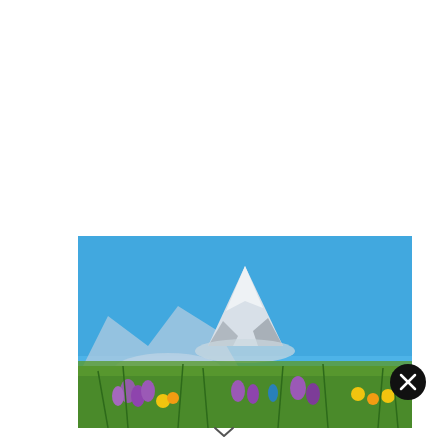VIEW POST
[Figure (photo): Photograph of the Matterhorn mountain peak with snow, blue sky, and colorful alpine flowers (purple crocuses and yellow flowers) in the foreground on a green meadow.]
[Figure (other): Black circle close/dismiss button with white X]